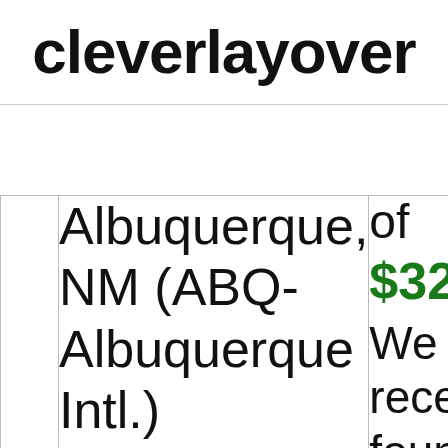cleverlayover
|  | Albuquerque, NM (ABQ-Albuquerque Intl.) | of
$321
We recen found savin |